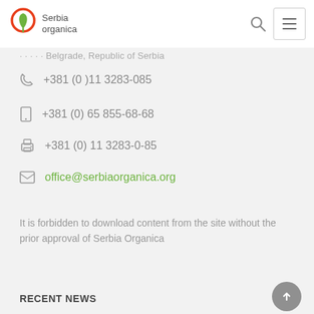Serbia Organica
... Belgrade, Republic of Serbia
+381 (0 )11 3283-085
+381 (0) 65 855-68-68
+381 (0) 11 3283-0-85
office@serbiaorganica.org
It is forbidden to download content from the site without the prior approval of Serbia Organica
RECENT NEWS